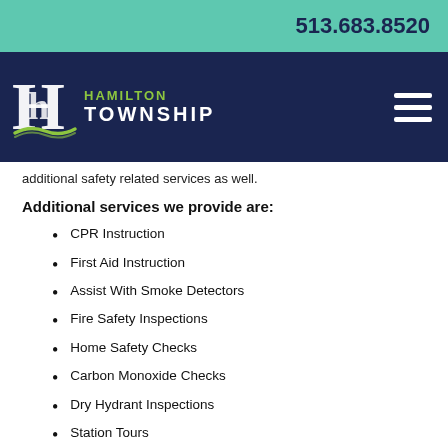513.683.8520
[Figure (logo): Hamilton Township logo with stylized H and wave design, green and white text reading HAMILTON TOWNSHIP on dark navy background with hamburger menu icon]
additional safety related services as well.
Additional services we provide are:
CPR Instruction
First Aid Instruction
Assist With Smoke Detectors
Fire Safety Inspections
Home Safety Checks
Carbon Monoxide Checks
Dry Hydrant Inspections
Station Tours
Community Events and Demonstrations
Reflective Address Signs